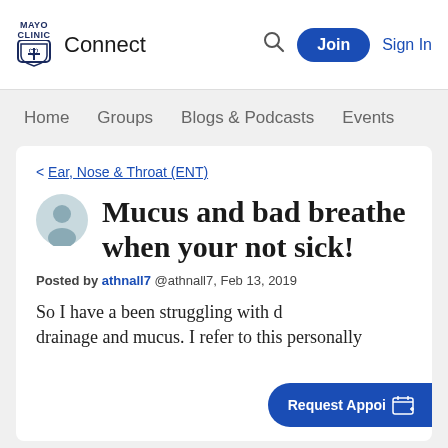MAYO CLINIC Connect — Search | Join | Sign In
Home   Groups   Blogs & Podcasts   Events
< Ear, Nose & Throat (ENT)
Mucus and bad breathe when your not sick!
Posted by athnall7 @athnall7, Feb 13, 2019
So I have a been struggling with drainage and mucus. I refer to this personally